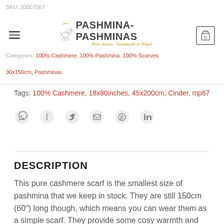SKU: 30007067
Categories: 100% Cashmere, 100% Pashmina, 100% Scarves, 30x150cm, Pashminas
Tags: 100% Cashmere, 18x80inches, 45x200cm, Cinder, mp67
[Figure (other): Social sharing icons: WhatsApp, Facebook, Twitter, Email, Pinterest, LinkedIn]
DESCRIPTION
This pure cashmere scarf is the smallest size of pashmina that we keep in stock. They are still 150cm (60") long though, which means you can wear them as a simple scarf. They provide some cosy warmth and feel luxurious to the touch.